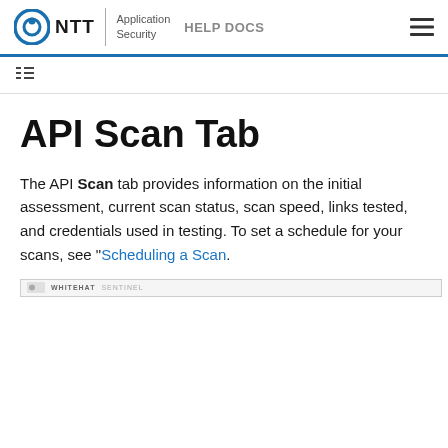NTT Application Security HELP DOCS
API Scan Tab
The API Scan tab provides information on the initial assessment, current scan status, scan speed, links tested, and credentials used in testing. To set a schedule for your scans, see "Scheduling a Scan.
[Figure (screenshot): Screenshot strip showing WhiteHat Sentinel application header/navigation bar]